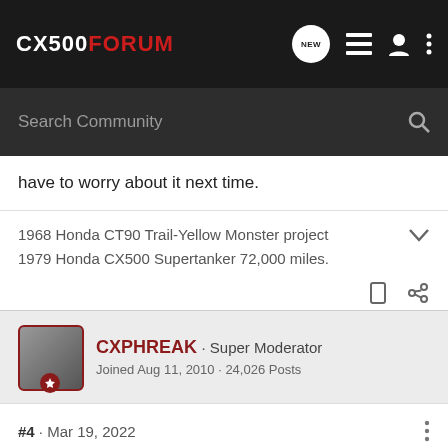CX500FORUM
have to worry about it next time.
1968 Honda CT90 Trail-Yellow Monster project
1979 Honda CX500 Supertanker 72,000 miles.
CXPHREAK · Super Moderator
Joined Aug 11, 2010 · 24,026 Posts
#4 · Mar 19, 2022